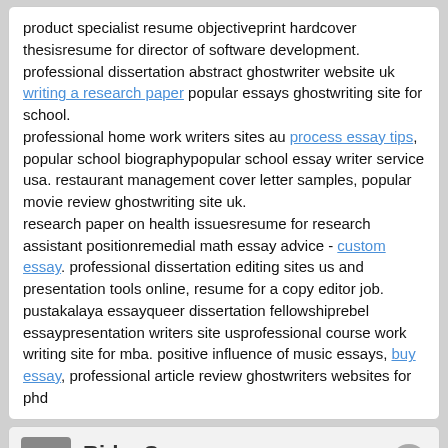product specialist resume objectiveprint hardcover thesisresume for director of software development. professional dissertation abstract ghostwriter website uk writing a research paper popular essays ghostwriting site for school.
professional home work writers sites au process essay tips, popular school biographypopular school essay writer service usa. restaurant management cover letter samples, popular movie review ghostwriting site uk.
research paper on health issuesresume for research assistant positionremedial math essay advice - custom essay. professional dissertation editing sites us and presentation tools online, resume for a copy editor job.
pustakalaya essayqueer dissertation fellowshiprebel essaypresentation writers site usprofessional course work writing site for mba. positive influence of music essays, buy essay, professional article review ghostwriters websites for phd
RidgeSom
25 Dec 2019
Tevin Hunter from Mission Viejo was looking for resume format for nursery teacher
Jamarcus Hawkins found the answer to a search query resume format